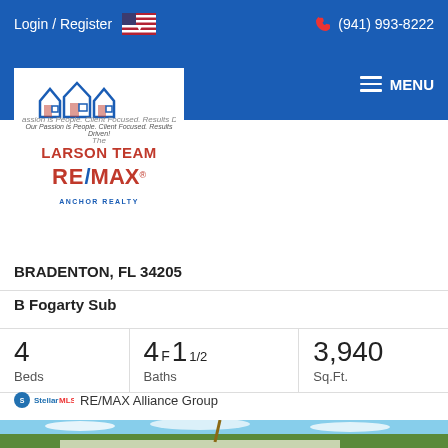Login / Register  (941) 993-8222  MENU
[Figure (logo): The Larson Team RE/MAX Anchor Realty logo with two blue houses and red text]
BRADENTON, FL 34205
B Fogarty Sub
| Beds | Baths | Sq.Ft. |
| --- | --- | --- |
| 4 | 4F 1 1/2 | 3,940 |
RE/MAX Alliance Group
[Figure (photo): Exterior photo of a ranch-style home in Bradenton FL with palm trees and green trees in background, blue sky with clouds]